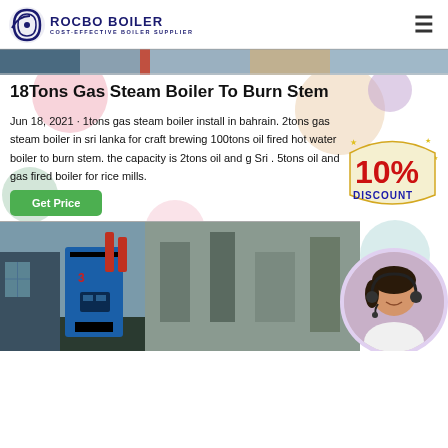ROCBO BOILER COST-EFFECTIVE BOILER SUPPLIER
[Figure (photo): Hero image strip showing industrial/manufacturing scene]
18Tons Gas Steam Boiler To Burn Stem
Jun 18, 2021 · 1tons gas steam boiler install in bahrain. 2tons gas steam boiler in sri lanka for craft brewing 100tons oil fired hot water boiler to burn stem. the capacity is 2tons oil and g Sri . 5tons oil and gas fired boiler for rice mills.
[Figure (illustration): 10% DISCOUNT badge/sticker in red and yellow]
[Figure (photo): Customer service representative with headset in circular frame]
[Figure (photo): Industrial gas steam boiler equipment in factory setting]